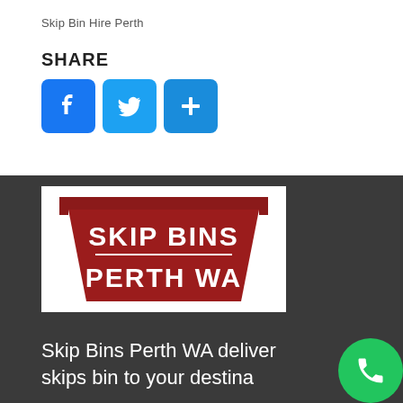Skip Bin Hire Perth
SHARE
[Figure (infographic): Social share buttons: Facebook (f icon), Twitter (bird icon), and a plus (+) button, all in blue rounded square icons]
[Figure (logo): Skip Bins Perth WA logo — a red trapezoidal skip bin shape with white bold text reading SKIP BINS and PERTH WA on a white background]
Skip Bins Perth WA deliver skips bin to your destina